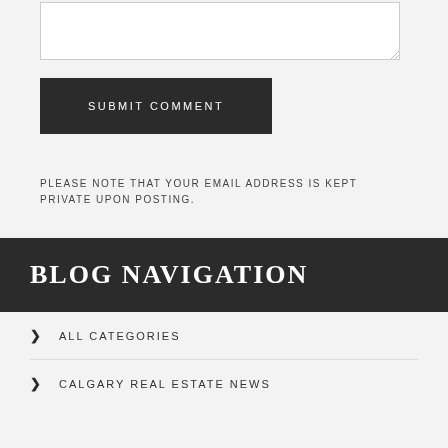[textarea input field]
SUBMIT COMMENT
PLEASE NOTE THAT YOUR EMAIL ADDRESS IS KEPT PRIVATE UPON POSTING.
BLOG NAVIGATION
ALL CATEGORIES
CALGARY REAL ESTATE NEWS